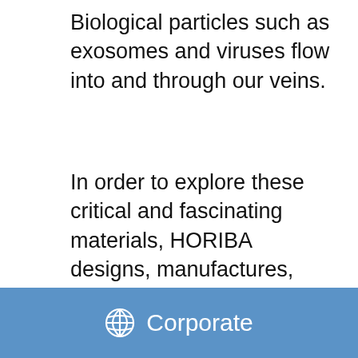Biological particles such as exosomes and viruses flow into and through our veins.
In order to explore these critical and fascinating materials, HORIBA designs, manufactures, and supplies state of the art particle characterization instruments. The data from these instruments enables many of the manufacturing processes relied upon today and allows innovators to explore the future of health, science, and...
Corporate